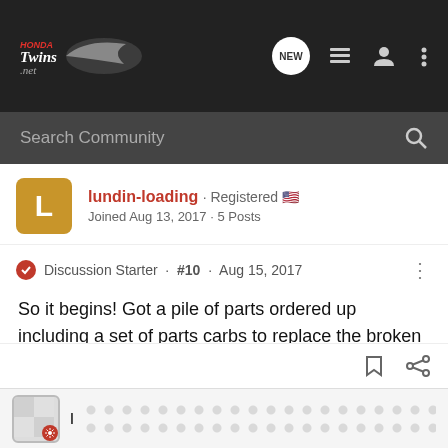[Figure (screenshot): HondaTwins.net forum website navigation bar with logo, NEW badge, list icon, user icon, and overflow menu dots]
Search Community
lundin-loading · Registered 🇺🇸
Joined Aug 13, 2017 · 5 Posts
Discussion Starter · #10 · Aug 15, 2017
So it begins! Got a pile of parts ordered up including a set of parts carbs to replace the broken linkage pieces I mentioned earlier. Hopefully I can get it going before the snow flys this year!
[Figure (screenshot): Partially visible next forum post with blurred avatar and blurred content preview]